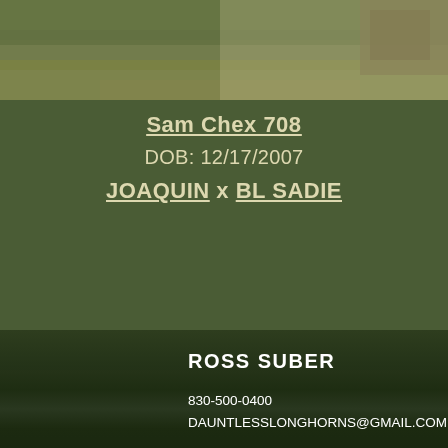[Figure (photo): Partial view of a grassy field with a longhorn cattle animal visible at the top right corner. The image is cropped showing the grass and the lower portion of the animal.]
Sam Chex 708
DOB: 12/17/2007
JOAQUIN x BL SADIE
ROSS SUBER
830-500-0400
DAUNTLESSLONGHORNS@GMAIL.COM